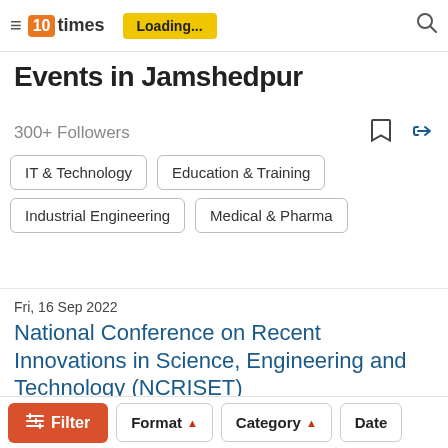10times — Loading...
Events in Jamshedpur
300+ Followers
IT & Technology
Education & Training
Industrial Engineering
Medical & Pharma
Fri, 16 Sep 2022
National Conference on Recent Innovations in Science, Engineering and Technology (NCRISET)
Hotel Yashwee International, Jamshedpur
Filter   Format   Category   Date